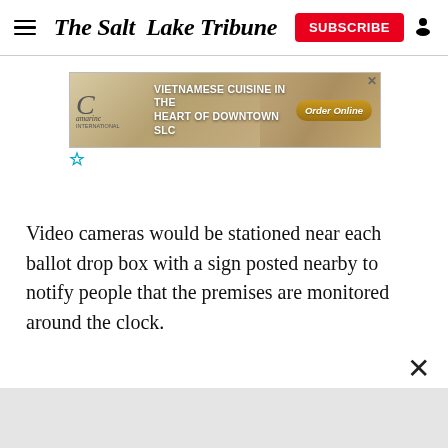The Salt Lake Tribune
[Figure (screenshot): Advertisement banner for Camarinc Vietnamese Cuisine in the Heart of Downtown SLC with Order Online button]
Video cameras would be stationed near each ballot drop box with a sign posted nearby to notify people that the premises are monitored around the clock.